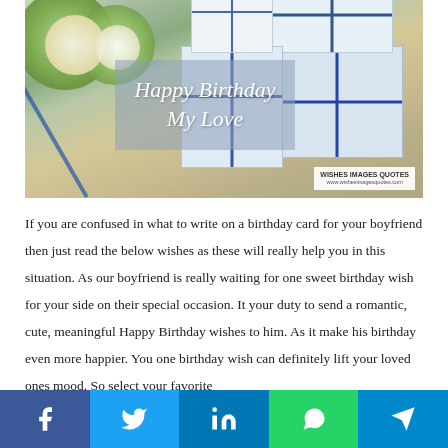[Figure (photo): Birthday gifts wrapped in blue and white ribbon with flowers in background, overlay text reading 'Happy Birthday My Love', watermark 'WISHES IMAGES QUOTES']
If you are confused in what to write on a birthday card for your boyfriend then just read the below wishes as these will really help you in this situation. As our boyfriend is really waiting for one sweet birthday wish for your side on their special occasion. It your duty to send a romantic, cute, meaningful Happy Birthday wishes to him. As it make his birthday even more happier. You one birthday wish can definitely lift your loved ones mood. So select your favorite
[Figure (infographic): Social media sharing bar with Facebook, Twitter, LinkedIn, WhatsApp, and Telegram icons]